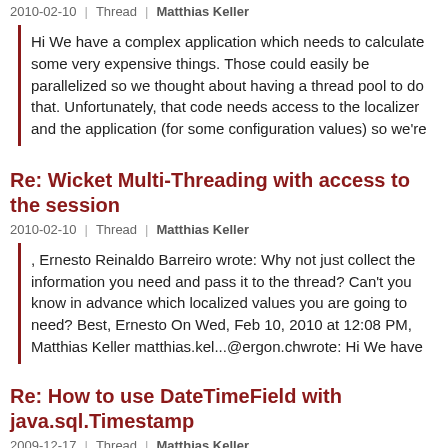2010-02-10  Thread  Matthias Keller
Hi We have a complex application which needs to calculate some very expensive things. Those could easily be parallelized so we thought about having a thread pool to do that. Unfortunately, that code needs access to the localizer and the application (for some configuration values) so we're
Re: Wicket Multi-Threading with access to the session
2010-02-10  Thread  Matthias Keller
, Ernesto Reinaldo Barreiro wrote: Why not just collect the information you need and pass it to the thread? Can't you know in advance which localized values you are going to need? Best, Ernesto On Wed, Feb 10, 2010 at 12:08 PM, Matthias Keller matthias.kel...@ergon.chwrote: Hi We have
Re: How to use DateTimeField with java.sql.Timestamp
2009-12-17  Thread  Matthias Keller
DateTimeField internally uses a DateTextField which is a normal TextField initialized as type java.util.Date You could create a class: public class TimestampField extends